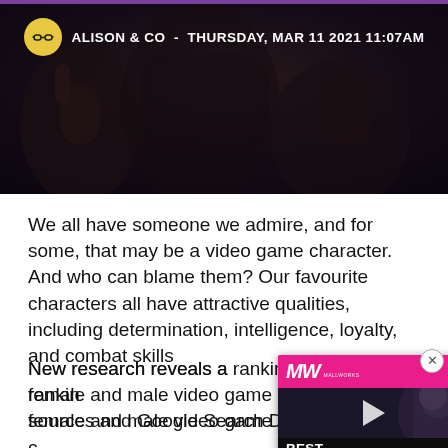ALISON & CO - THURSDAY, MAR 11 2021 11:07AM
[Figure (photo): Dark hero banner image with game characters in background, overlay with author info]
We all have someone we admire, and for some, that may be a video game character. And who can blame them? Our favourite characters all have attractive qualities, including determination, intelligence, loyalty, and combat skills
New research reveals a ranking of the most admired female and male video game characters, using various sources and Google Search D...
[Figure (screenshot): Ad overlay for MallWorks showing 'BEST ZOMBIE GAMES' with a video thumbnail of a game character, pink and dark color scheme]